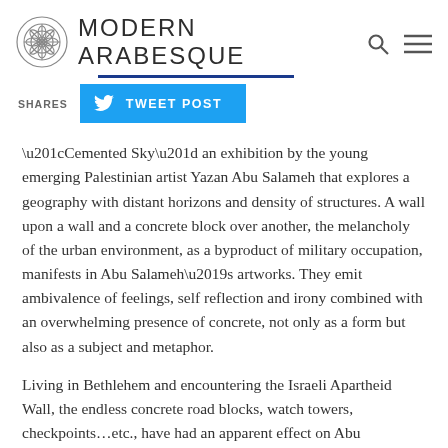MODERN ARABESQUE
SHARES
[Figure (other): Tweet Post button with Twitter bird icon on blue background]
“Cemented Sky” an exhibition by the young emerging Palestinian artist Yazan Abu Salameh that explores a geography with distant horizons and density of structures. A wall upon a wall and a concrete block over another, the melancholy of the urban environment, as a byproduct of military occupation, manifests in Abu Salameh’s artworks. They emit ambivalence of feelings, self reflection and irony combined with an overwhelming presence of concrete, not only as a form but also as a subject and metaphor.
Living in Bethlehem and encountering the Israeli Apartheid Wall, the endless concrete road blocks, watch towers, checkpoints…etc., have had an apparent effect on Abu